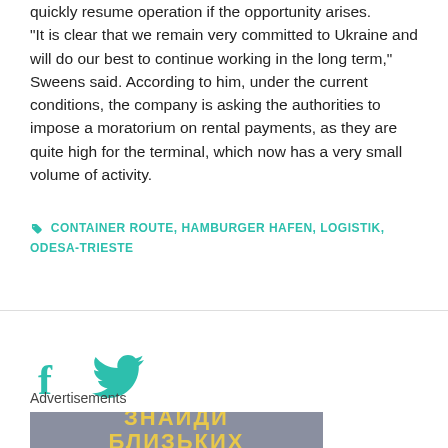quickly resume operation if the opportunity arises. "It is clear that we remain very committed to Ukraine and will do our best to continue working in the long term," Sweens said. According to him, under the current conditions, the company is asking the authorities to impose a moratorium on rental payments, as they are quite high for the terminal, which now has a very small volume of activity.
CONTAINER ROUTE, HAMBURGER HAFEN, LOGISTIK, ODESA-TRIESTE
[Figure (other): Social media share icons: Facebook (f) and Twitter (bird) in teal/green color]
Advertisements
[Figure (other): Advertisement banner with grey background and yellow Cyrillic text reading ЗНАЙДИ БЛИЗЬКИХ]